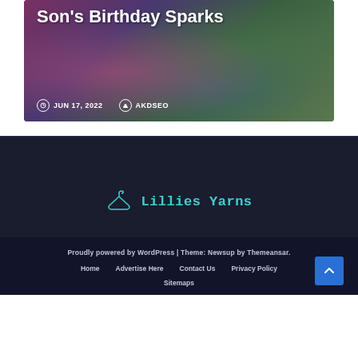[Figure (photo): Birthday party photo with cake and decorations, overlaid with article title and metadata]
Son's Birthday Sparks
JUN 17, 2022  AKDSEO
[Figure (logo): Lillies Yarns logo with hanger icon in teal color]
Proudly powered by WordPress | Theme: Newsup by Themeansar.
Home   Advertise Here   Contact Us   Privacy Policy
Sitemaps